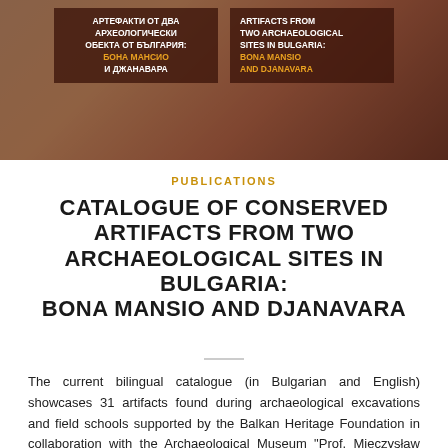[Figure (photo): Book cover photo showing hands holding a publication with Cyrillic and Latin text about artifacts from two archaeological sites in Bulgaria: Bona Mansio and Djanavara. Dark brown overlay with white and gold text.]
PUBLICATIONS
CATALOGUE OF CONSERVED ARTIFACTS FROM TWO ARCHAEOLOGICAL SITES IN BULGARIA: BONA MANSIO AND DJANAVARA
The current bilingual catalogue (in Bulgarian and English) showcases 31 artifacts found during archaeological excavations and field schools supported by the Balkan Heritage Foundation in collaboration with the Archaeological Museum "Prof. Mieczysław Domaradzki" and the Varna Regional Museum of